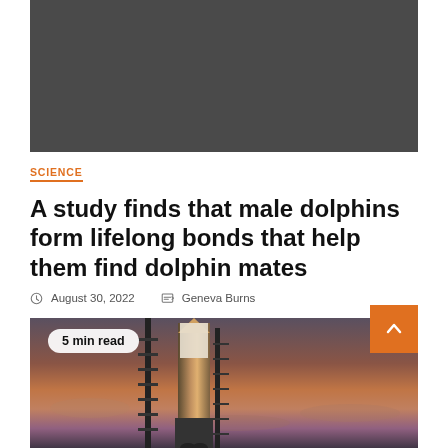[Figure (photo): Dark gray hero image placeholder at the top of the article]
SCIENCE
A study finds that male dolphins form lifelong bonds that help them find dolphin mates
August 30, 2022   Geneva Burns
[Figure (photo): Photo of a rocket (appears to be NASA SLS or similar) on a launch pad at sunset/dusk with orange and purple sky. A '5 min read' badge overlays the lower-left corner and an orange scroll-to-top button is in the lower-right.]